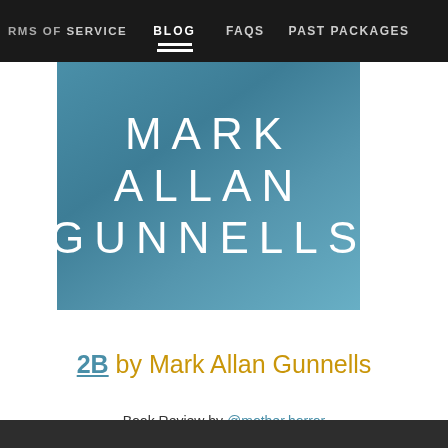RMS OF SERVICE   BLOG   FAQs   PAST PACKAGES
[Figure (illustration): Mark Allan Gunnells banner with large white text on teal/blue background]
2B by Mark Allan Gunnells
Book Review by @mother.horror